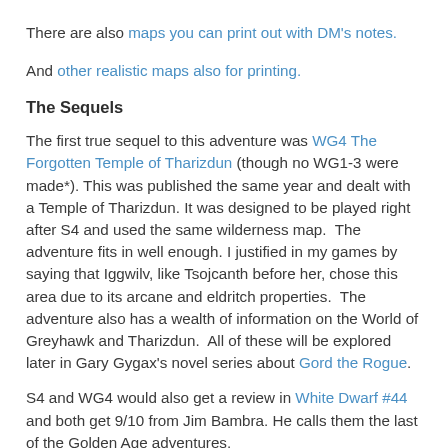There are also maps you can print out with DM's notes.
And other realistic maps also for printing.
The Sequels
The first true sequel to this adventure was WG4 The Forgotten Temple of Tharizdun (though no WG1-3 were made*). This was published the same year and dealt with a Temple of Tharizdun. It was designed to be played right after S4 and used the same wilderness map.  The adventure fits in well enough. I justified in my games by saying that Iggwilv, like Tsojcanth before her, chose this area due to its arcane and eldritch properties.  The adventure also has a wealth of information on the World of Greyhawk and Tharizdun.  All of these will be explored later in Gary Gygax's novel series about Gord the Rogue.
S4 and WG4 would also get a review in White Dwarf #44 and both get 9/10 from Jim Bambra. He calls them the last of the Golden Age adventures.